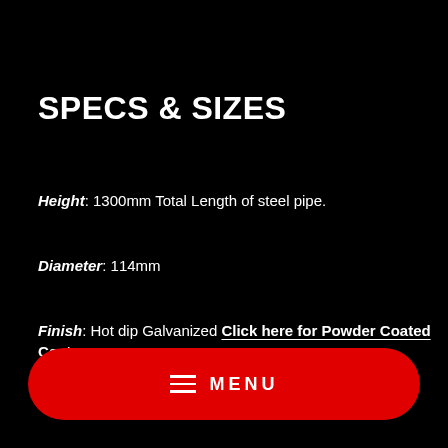SPECS & SIZES
Height: 1300mm Total Length of steel pipe.
Diameter: 114mm
Finish: Hot dip Galvanized Click here for Powder Coated Cost
MENU